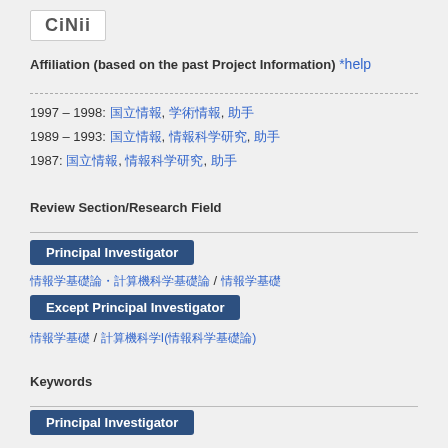[Figure (logo): CiNii logo in a bordered box]
Affiliation (based on the past Project Information) *help
1997 – 1998: 国立情報, 学術情報, 助手
1989 – 1993: 国立情報, 情報科学研究, 助手
1987: 国立情報, 情報科学研究, 助手
Review Section/Research Field
Principal Investigator
情報学基礎論・計算機科学基礎論 / 情報学基礎
Except Principal Investigator
情報学基礎 / 計算機科学I(情報科学基礎論)
Keywords
Principal Investigator